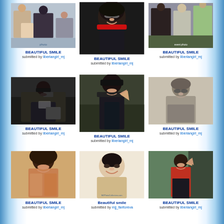[Figure (photo): Photo 1 - group photo with people, submitted by liberiangirl_mj]
BEAUTIFUL SMILE
submitted by liberiangirl_mj
[Figure (photo): Photo 2 - person with sunglasses and curly hair, submitted by liberiangirl_mj]
BEAUTIFUL SMILE
submitted by liberiangirl_mj
[Figure (photo): Photo 3 - group photo at event, submitted by liberiangirl_mj]
BEAUTIFUL SMILE
submitted by liberiangirl_mj
[Figure (photo): Photo 4 - person with camera at event, submitted by liberiangirl_mj]
BEAUTIFUL SMILE
submitted by liberiangirl_mj
[Figure (photo): Photo 5 - person with hat making peace sign, submitted by liberiangirl_mj]
BEAUTIFUL SMILE
submitted by liberiangirl_mj
[Figure (photo): Photo 6 - black and white photo of person with sunglasses, submitted by liberiangirl_mj]
BEAUTIFUL SMILE
submitted by liberiangirl_mj
[Figure (photo): Photo 7 - young person with afro, submitted by liberiangirl_mj]
BEAUTIFUL SMILE
submitted by liberiangirl_mj
[Figure (photo): Photo 8 - portrait close-up smiling, submitted by mjj_fanforeva]
Beautiful smile
submitted by mjj_fanforeva
[Figure (photo): Photo 9 - person making peace sign outdoors, submitted by liberiangirl_mj]
BEAUTIFUL SMILE
submitted by liberiangirl_mj